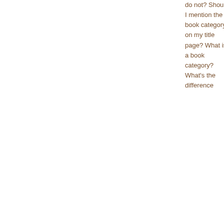do not? Should I mention the book category on my title page? What is a book category? What's the difference